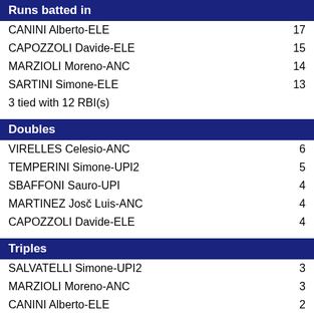Runs batted in
CANINI Alberto-ELE    17
CAPOZZOLI Davide-ELE    15
MARZIOLI Moreno-ANC    14
SARTINI Simone-ELE    13
3 tied with 12 RBI(s)
Doubles
VIRELLES Celesio-ANC    6
TEMPERINI Simone-UPI2    5
SBAFFONI Sauro-UPI    4
MARTINEZ Josč Luis-ANC    4
CAPOZZOLI Davide-ELE    4
Triples
SALVATELLI Simone-UPI2    3
MARZIOLI Moreno-ANC    3
CANINI Alberto-ELE    2
PERAZA R. Welmer-CES    2
PAOLETTI Riccardo-UPI    2
Home runs
CANINI Alberto-ELE    3
PAOLETTI Riccardo-UPI    1